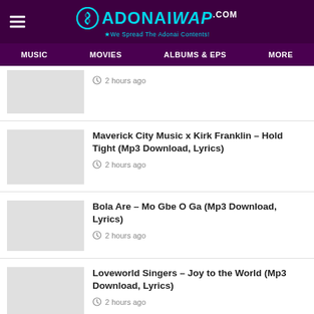ADONAIWAP.com — We Spread The Adonai Contents!
2 hours ago
Maverick City Music x Kirk Franklin – Hold Tight (Mp3 Download, Lyrics) — 2 hours ago
Bola Are – Mo Gbe O Ga (Mp3 Download, Lyrics) — 2 hours ago
Loveworld Singers – Joy to the World (Mp3 Download, Lyrics) — 2 hours ago
Steve Crown – Imela (mp3 Download, lyrics) — 2 hours ago